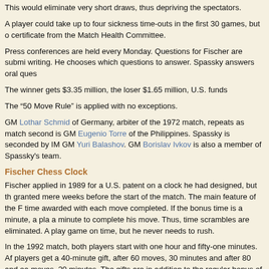This would eliminate very short draws, thus depriving the spectators.
A player could take up to four sickness time-outs in the first 30 games, but only with a certificate from the Match Health Committee.
Press conferences are held every Monday. Questions for Fischer are submitted in writing. He chooses which questions to answer. Spassky answers oral questions.
The winner gets $3.35 million, the loser $1.65 million, U.S. funds
The “50 Move Rule” is applied with no exceptions.
GM Lothar Schmid of Germany, arbiter of the 1972 match, repeats as match arbiter. Fischer's second is GM Eugenio Torre of the Philippines. Spassky is seconded by IM ... GM Yuri Balashov. GM Borislav Ivkov is also a member of Spassky's team.
Fischer Chess Clock
Fischer applied in 1989 for a U.S. patent on a clock he had designed, but the patent was granted mere weeks before the start of the match. The main feature of the Fischer clock is time awarded with each move completed. If the bonus time is a minute, a player always has a minute to complete his move. Thus, time scrambles are eliminated. A player can still lose a game on time, but he never needs to rush.
In the 1992 match, both players start with one hour and fifty-one minutes. After 40 moves, players get a 40-minute gift, after 60 moves, 30 minutes and after 80 and each following 20 moves, 20 minutes. The gifts are in addition to the regular bonus of one minute per move.
Because of the newness of the clock, Fischer played a 10-game training match against Gligoric, winning +3 =6 -1, to get used to the new time controls.